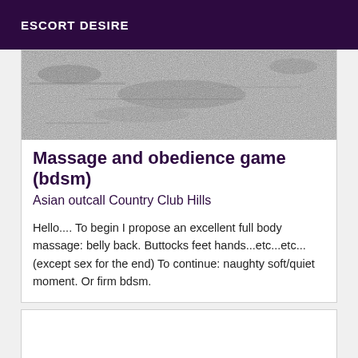ESCORT DESIRE
[Figure (photo): Black and white textured stone or concrete surface background image]
Massage and obedience game (bdsm)
Asian outcall Country Club Hills
Hello.... To begin I propose an excellent full body massage: belly back. Buttocks feet hands...etc...etc... (except sex for the end) To continue: naughty soft/quiet moment. Or firm bdsm.